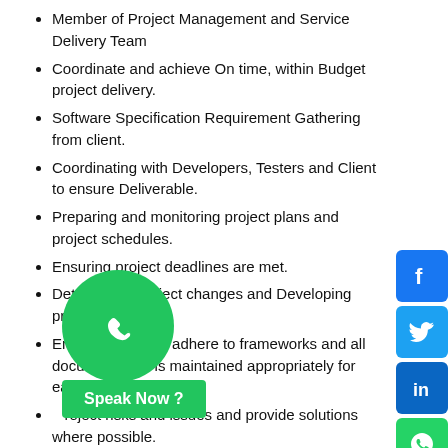Member of Project Management and Service Delivery Team
Coordinate and achieve On time, within Budget project delivery.
Software Specification Requirement Gathering from client.
Coordinating with Developers, Testers and Client to ensure Deliverable.
Preparing and monitoring project plans and project schedules.
Ensuring project deadlines are met.
Determining project changes and Developing project strategies.
Ensuring projects adhere to frameworks and all documentation is maintained appropriately for each project.
Identifying project risks and issues and provide solutions where possible.
Maintaining project management calendar for fulfilling each goal and objective.
Organizing and attending the meetings.
Documenting and following up on important actions and decisions from meetings.